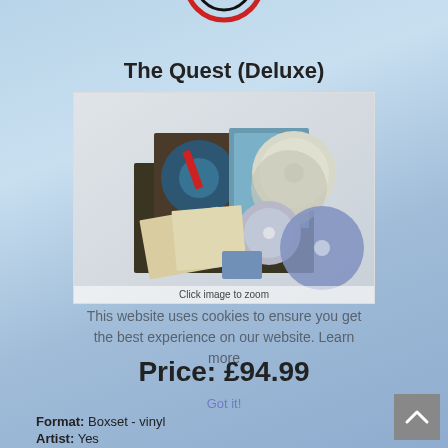[Figure (logo): Partial circular logo at top center, red and dark colors, partially cropped]
The Quest (Deluxe)
[Figure (photo): Product photo of Yes 'The Quest' deluxe boxset including vinyl records, CDs, booklet, and packaging spread out. Caption reads 'Click image to zoom']
This website uses cookies to ensure you get the best experience on our website. Learn more
Price: £94.99
Got it!
Format: Boxset - vinyl
Artist: Yes